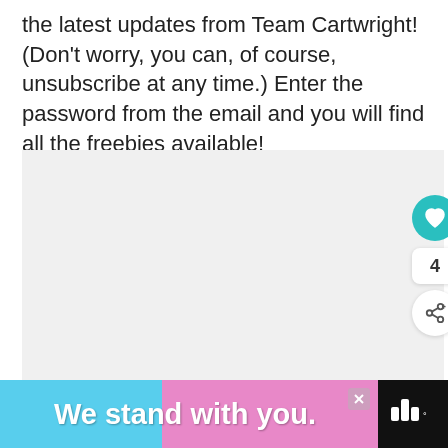the latest updates from Team Cartwright! (Don't worry, you can, of course, unsubscribe at any time.) Enter the password from the email and you will find all the freebies available!
[Figure (other): Large light gray content area with social interaction buttons on the right side: a teal heart/like button, a count of 4, and a share button. A 'What's Next' card appears at bottom right showing Easter Egg Submarines thumbnail and label.]
[Figure (other): Advertisement banner at the bottom: black background with blue and pink color stripes, bold white text reading 'We stand with you.' with a close button and logo on the right.]